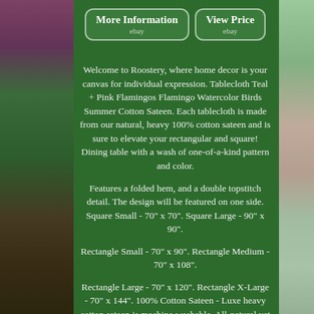[Figure (photo): Background photo of pink flowers and greenery on the left side, and flamingo/plant imagery on the right side, with a dark green center panel]
More Information
ebay
View Price
ebay
Welcome to Roostery, where home decor is your canvas for individual expression. Tablecloth Teal + Pink Flamingos Flamingo Watercolor Birds Summer Cotton Sateen. Each tablecloth is made from our natural, heavy 100% cotton sateen and is sure to elevate your rectangular and square! Dining table with a wash of one-of-a-kind pattern and color.
Features a folded hem, and a double topstitch detail. The design will be featured on one side. Square Small - 70" x 70". Square Large - 90" x 90".
Rectangle Small - 70" x 90". Rectangle Medium - 70" x 108".
Rectangle Large - 70" x 120". Rectangle X-Large - 70" x 144". 100% Cotton Sateen - Luxe heavy cotton sateen is machine washable. All-natural yet durable, perfect for casual and elegant tables alike.